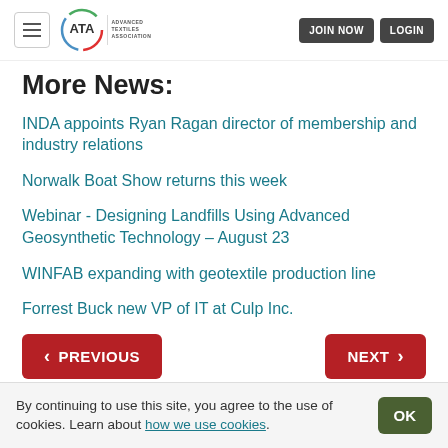ATA Advanced Textiles Association — JOIN NOW | LOGIN
More News:
INDA appoints Ryan Ragan director of membership and industry relations
Norwalk Boat Show returns this week
Webinar - Designing Landfills Using Advanced Geosynthetic Technology – August 23
WINFAB expanding with geotextile production line
Forrest Buck new VP of IT at Culp Inc.
By continuing to use this site, you agree to the use of cookies. Learn about how we use cookies.